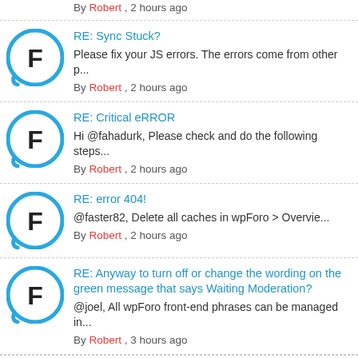By Robert , 2 hours ago
RE: Sync Stuck?
Please fix your JS errors. The errors come from other p...
By Robert , 2 hours ago
RE: Critical eRROR
Hi @fahadurk, Please check and do the following steps...
By Robert , 2 hours ago
RE: error 404!
@faster82, Delete all caches in wpForo > Overvie...
By Robert , 2 hours ago
RE: Anyway to turn off or change the wording on the green message that says Waiting Moderation?
@joel, All wpForo front-end phrases can be managed in...
By Robert , 3 hours ago
RE: No likes possible with 2.0.6
@berndg, Likes for fine. Just purge WP Rocket...